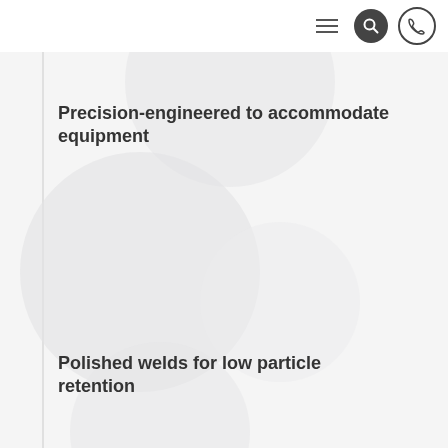[Figure (screenshot): Navigation bar with hamburger menu icon, search icon (dark circle), and phone icon (outlined circle)]
[Figure (illustration): Decorative overlapping circular/hexagonal shapes in light gray forming a background pattern]
Precision-engineered to accommodate equipment
Polished welds for low particle retention